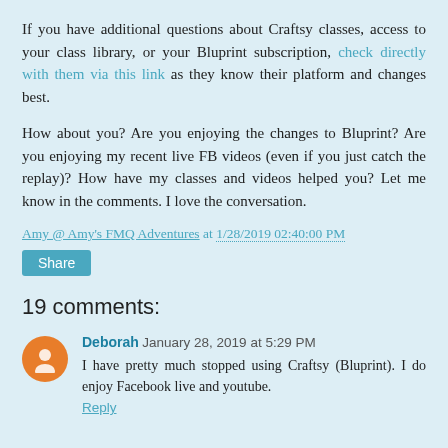If you have additional questions about Craftsy classes, access to your class library, or your Bluprint subscription, check directly with them via this link as they know their platform and changes best.
How about you? Are you enjoying the changes to Bluprint? Are you enjoying my recent live FB videos (even if you just catch the replay)? How have my classes and videos helped you? Let me know in the comments. I love the conversation.
Amy @ Amy's FMQ Adventures at 1/28/2019 02:40:00 PM
Share
19 comments:
Deborah January 28, 2019 at 5:29 PM
I have pretty much stopped using Craftsy (Bluprint). I do enjoy Facebook live and youtube.
Reply